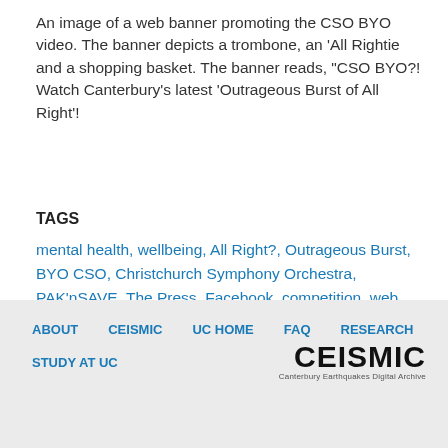An image of a web banner promoting the CSO BYO video. The banner depicts a trombone, an 'All Rightie and a shopping basket. The banner reads, "CSO BYO?! Watch Canterbury's latest 'Outrageous Burst of All Right'!
TAGS
mental health, wellbeing, All Right?, Outrageous Burst, BYO CSO, Christchurch Symphony Orchestra, PAK'nSAVE, The Press, Facebook, competition, web banner
[Figure (other): Tweet button with Twitter bird icon]
ABOUT   CEISMIC   UC HOME   FAQ   RESEARCH   STUDY AT UC   CEISMIC Canterbury Earthquakes Digital Archive